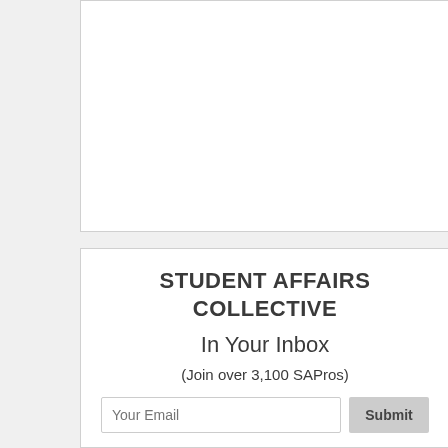[Figure (other): Empty white box at top, likely containing an image or advertisement placeholder]
STUDENT AFFAIRS COLLECTIVE
In Your Inbox
(Join over 3,100 SAPros)